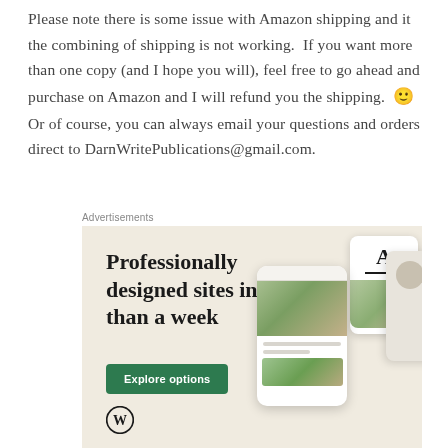Please note there is some issue with Amazon shipping and it the combining of shipping is not working. If you want more than one copy (and I hope you will), feel free to go ahead and purchase on Amazon and I will refund you the shipping. 🙂 Or of course, you can always email your questions and orders direct to DarnWritePublications@gmail.com.
Advertisements
[Figure (illustration): WordPress advertisement banner with beige/cream background. Headline text: 'Professionally designed sites in less than a week'. Green 'Explore options' button. WordPress logo (W in circle) at bottom left. Right side shows mockup smartphone/tablet screens displaying website designs.]